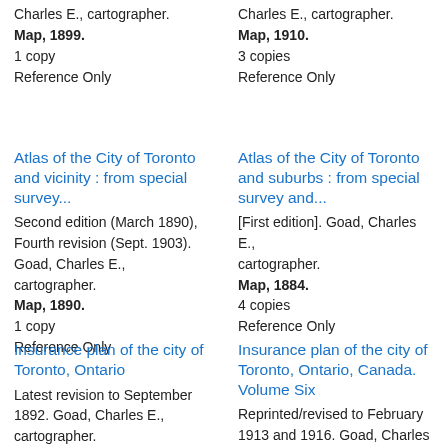Charles E., cartographer. Map, 1899. 1 copy Reference Only
Charles E., cartographer. Map, 1910. 3 copies Reference Only
Atlas of the City of Toronto and vicinity : from special survey...
Second edition (March 1890), Fourth revision (Sept. 1903). Goad, Charles E., cartographer. Map, 1890. 1 copy Reference Only
Atlas of the City of Toronto and suburbs : from special survey and...
[First edition]. Goad, Charles E., cartographer. Map, 1884. 4 copies Reference Only
Insurance plan of the city of Toronto, Ontario
Latest revision to September 1892. Goad, Charles E., cartographer. Map, 1880. 2 copies
Insurance plan of the city of Toronto, Ontario, Canada. Volume Six
Reprinted/revised to February 1913 and 1916. Goad, Charles E., cartographer, publisher. Map, 1910.